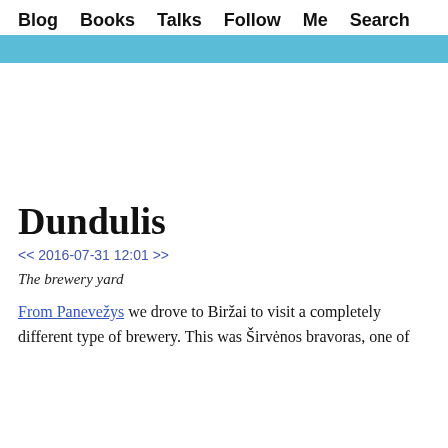Blog  Books  Talks  Follow  Me  Search
Dundulis
<< 2016-07-31 12:01 >>
The brewery yard
From Panevežys we drove to Biržai to visit a completely different type of brewery. This was Širvėnos bravoras, one of